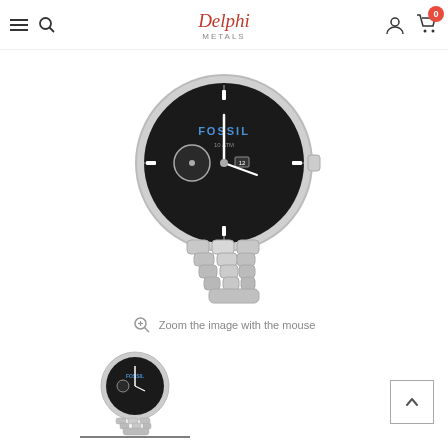Delphi Metals — Navigation header with hamburger menu, search, logo, user icon, and cart (0)
[Figure (photo): Fossil chronograph watch with black dial and silver stainless steel bracelet, shown from front at slight angle. Large main product image.]
Zoom the image with the mouse
[Figure (photo): Small thumbnail of the same Fossil chronograph watch with black dial and silver bracelet, selected state indicated by underline.]